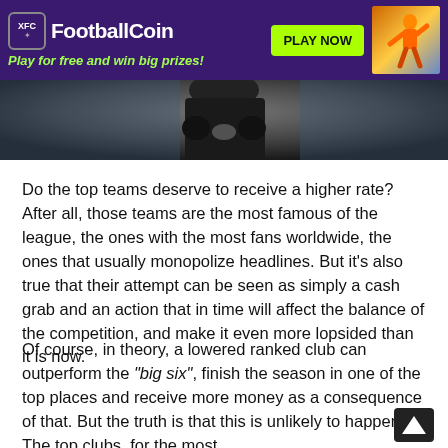[Figure (other): FootballCoin banner advertisement with purple background, XFC logo, brand name, green tagline 'Play for free and win big prizes!', green PLAY NOW button, and football player illustration]
[Figure (photo): Cropped photo of a person in dark clothing, blurred background, showing torso/arms area]
Do the top teams deserve to receive a higher rate? After all, those teams are the most famous of the league, the ones with the most fans worldwide, the ones that usually monopolize headlines. But it's also true that their attempt can be seen as simply a cash grab and an action that in time will affect the balance of the competition, and make it even more lopsided than it is now.
Of course, in theory, a lowered ranked club can outperform the "big six", finish the season in one of the top places and receive more money as a consequence of that. But the truth is that this is unlikely to happen. The top clubs, for the most